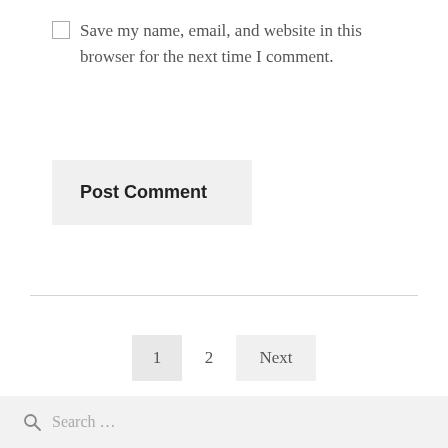Save my name, email, and website in this browser for the next time I comment.
Post Comment
1   2   Next
Search ...